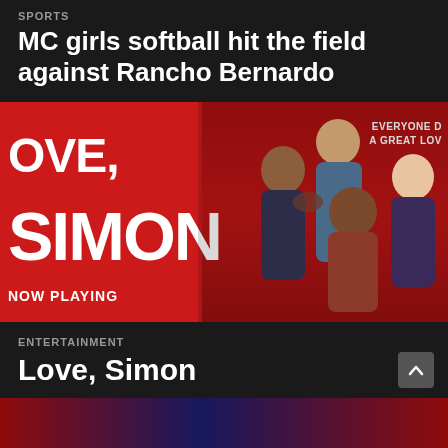SPORTS
MC girls softball hit the field against Rancho Bernardo
[Figure (photo): Movie promotional poster for 'Love, Simon' on a red background. Shows text 'OVE, SIMON' and 'NOW PLAYING' on the left side, with 'EVERYONE D A GREAT LOV' tagline in upper right. Four young actors are posed together on the right side of the poster.]
ENTERTAINMENT
Love, Simon
[Figure (photo): Partial view of another article image at the bottom of the page, showing a dark scene with blue and red tones.]